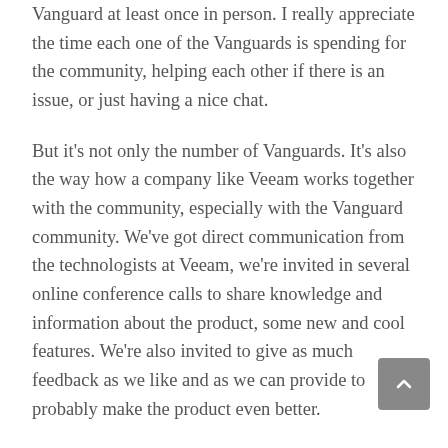Vanguard at least once in person. I really appreciate the time each one of the Vanguards is spending for the community, helping each other if there is an issue, or just having a nice chat.
But it's not only the number of Vanguards. It's also the way how a company like Veeam works together with the community, especially with the Vanguard community. We've got direct communication from the technologists at Veeam, we're invited in several online conference calls to share knowledge and information about the product, some new and cool features. We're also invited to give as much feedback as we like and as we can provide to probably make the product even better.
Veeam is sharing content and information with us Vanguards so that we are more or less on the